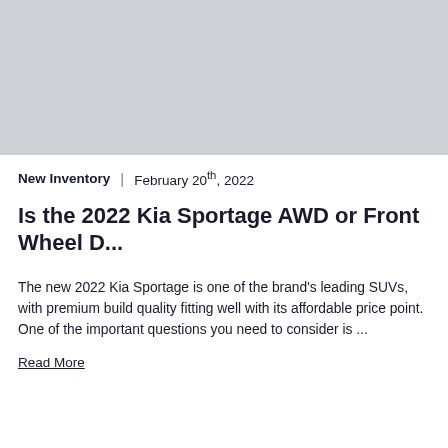[Figure (photo): Gray placeholder image area at top of article card]
New Inventory | February 20th, 2022
Is the 2022 Kia Sportage AWD or Front Wheel D...
The new 2022 Kia Sportage is one of the brand's leading SUVs, with premium build quality fitting well with its affordable price point. One of the important questions you need to consider is ...
Read More